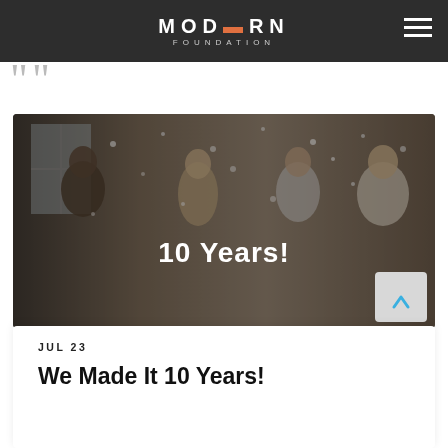MODERN FOUNDATION
[Figure (photo): People celebrating with confetti, laughing and having fun indoors, with text overlay '10 Years!']
JUL 23
We Made It 10 Years!